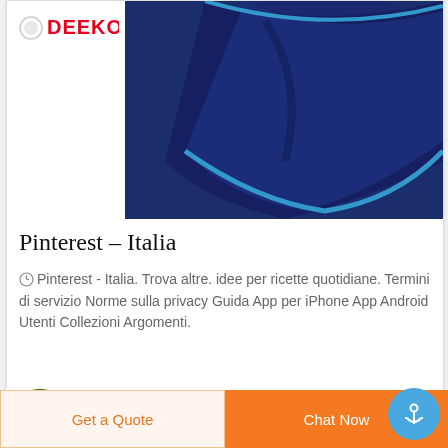[Figure (logo): DEEKON logo with red bold text]
[Figure (photo): Dark navy blue folded pocket square with light blue piping edge]
Pinterest - Italia
Pinterest - Italia. Trova altre. idee per ricette quotidiane. Termini di servizio Norme sulla privacy Guida App per iPhone App Android Utenti Collezioni Argomenti.
[Figure (logo): DEEKON circular logo with D letter and wifi-like signal arcs in green and red]
[Figure (other): Get a Quote button (light orange background) and Chat Now button (orange background) at bottom, with blue anchor icon button overlay]